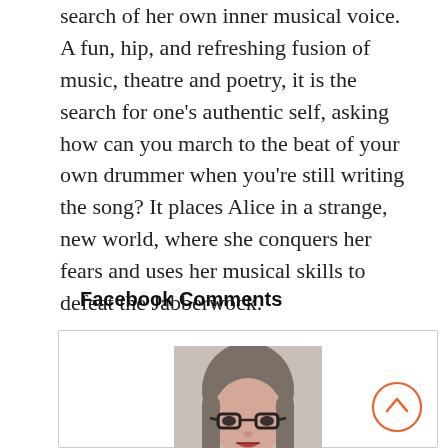search of her own inner musical voice. A fun, hip, and refreshing fusion of music, theatre and poetry, it is the search for one's authentic self, asking how can you march to the beat of your own drummer when you're still writing the song? It places Alice in a strange, new world, where she conquers her fears and uses her musical skills to defeat the Jabberwock.
Facebook Comments
[Figure (photo): A woman with shoulder-length gray hair wearing glasses and a dark patterned top, shown from shoulders up, with a neutral background.]